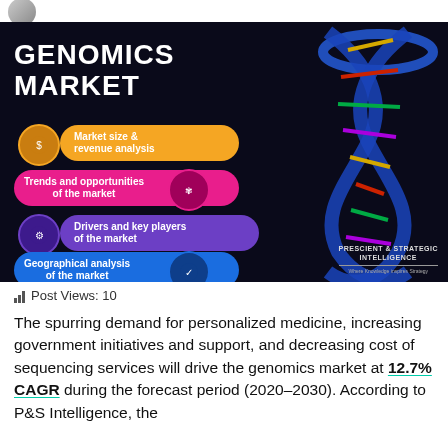[Figure (infographic): Genomics Market infographic with dark background showing a DNA double helix on the right side and four colored pill-shaped badges listing: Market size & revenue analysis (orange), Trends and opportunities of the market (pink), Drivers and key players of the market (purple), Geographical analysis of the market (blue). Title reads GENOMICS MARKET in white bold text. Prescient & Strategic Intelligence logo in bottom right.]
Post Views: 10
The spurring demand for personalized medicine, increasing government initiatives and support, and decreasing cost of sequencing services will drive the genomics market at 12.7% CAGR during the forecast period (2020–2030). According to P&S Intelligence, the